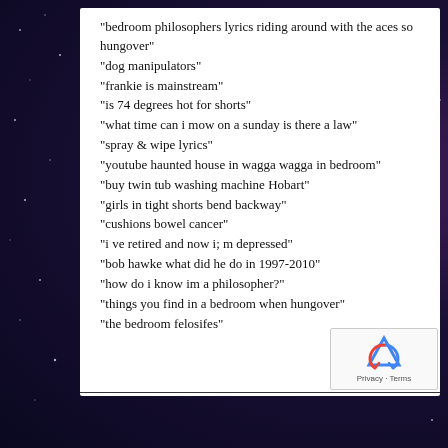“bedroom philosophers lyrics riding around with the aces so hungover”
“dog manipulators”
“frankie is mainstream”
“is 74 degrees hot for shorts”
“what time can i mow on a sunday is there a law”
“spray & wipe lyrics”
“youtube haunted house in wagga wagga in bedroom”
“buy twin tub washing machine Hobart”
“girls in tight shorts bend backway”
“cushions bowel cancer”
“i ve retired and now i; m depressed”
“bob hawke what did he do in 1997-2010”
“how do i know im a philosopher?”
“things you find in a bedroom when hungover”
“the bedroom felosifes”